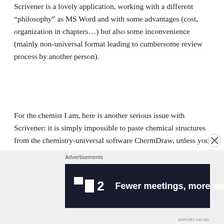Scrivener is a lovely application, working with a different “philosophy” as MS Word and with some advantages (cost, organization in chapters…) but also some inconvenience (mainly non-universal format leading to cumbersome review process by another person).
For the chemist I am, here is another serious issue with Scrivener: it is simply impossible to paste chemical structures from the chemistry-universal software ChermDraw, unless you decide to save the structures in ChemDraw (.cdx format) AND graphic format (png, jpg…), which is again cumbersome…
[Figure (other): Advertisement banner with dark navy background showing a logo mark (two rectangles forming a play/forward symbol) followed by '2' and the text 'Fewer meetings, more work.' in bold white text. Labeled 'Advertisements' above. A close (X) button appears to the right of the banner area.]